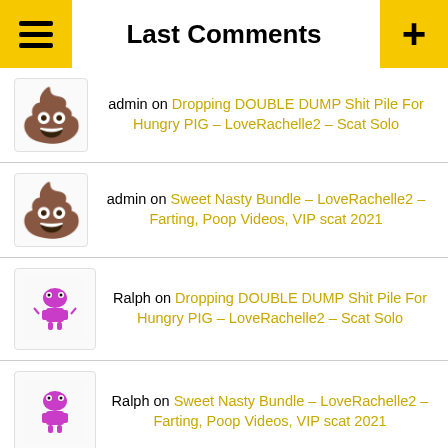Last Comments
admin on Dropping DOUBLE DUMP Shit Pile For Hungry PIG – LoveRachelle2 – Scat Solo
admin on Sweet Nasty Bundle – LoveRachelle2 – Farting, Poop Videos, VIP scat 2021
Ralph on Dropping DOUBLE DUMP Shit Pile For Hungry PIG – LoveRachelle2 – Scat Solo
Ralph on Sweet Nasty Bundle – LoveRachelle2 – Farting, Poop Videos, VIP scat 2021
Fernando on Scat Feet/Anal Beads Play In Pink Shadow – Scat Solo, Amateurs Scat Porn
Fernando on Worship my Shit 2 – Dirtygardengirl – Scat Solo, Extreme Scat, Amateurs Scat
Fernando on Latex Shit Feet Smear – scatdesire – Scat Solo, Amateurs Scat, big shit pile
Fernando on Latex Shit Feet Smear – scatdes… Solo, Amateurs Scat, big shit pile